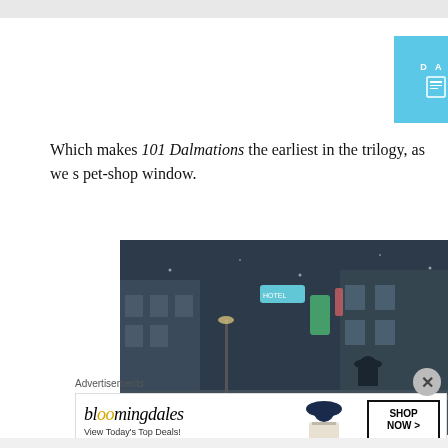[Figure (screenshot): Top advertisement banner for Day One journal app, light blue background with icons and text 'The only journ... app you'll ever']
Which makes 101 Dalmations the earliest in the trilogy, as we s... pet-shop window.
[Figure (screenshot): Dark animated movie still showing a nighttime city street scene with neon signs and silhouetted figures, from 101 Dalmatians]
[Figure (screenshot): Bottom advertisement banner for Bloomingdale's: 'View Today's Top Deals!' with SHOP NOW > button]